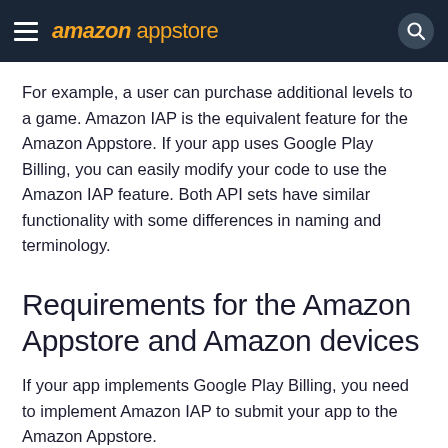amazon appstore
For example, a user can purchase additional levels to a game. Amazon IAP is the equivalent feature for the Amazon Appstore. If your app uses Google Play Billing, you can easily modify your code to use the Amazon IAP feature. Both API sets have similar functionality with some differences in naming and terminology.
Requirements for the Amazon Appstore and Amazon devices
If your app implements Google Play Billing, you need to implement Amazon IAP to submit your app to the Amazon Appstore.